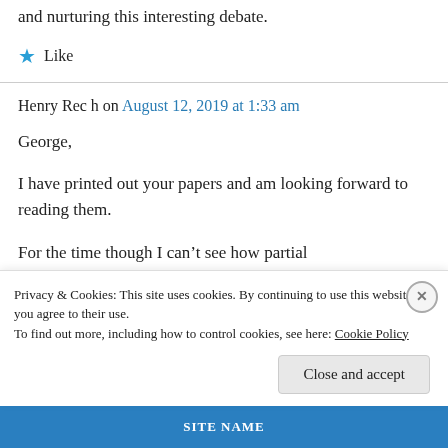and nurturing this interesting debate.
Like
Henry Rec h on August 12, 2019 at 1:33 am
George,
I have printed out your papers and am looking forward to reading them.
For the time though I can't see how partial
Privacy & Cookies: This site uses cookies. By continuing to use this website, you agree to their use.
To find out more, including how to control cookies, see here: Cookie Policy
Close and accept